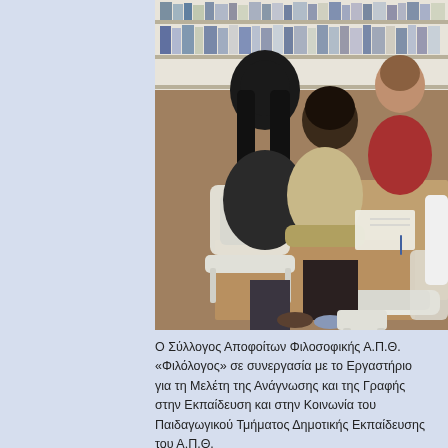[Figure (photo): Students sitting at tables in a library setting, studying or doing activities. Bookshelves visible in the background. Multiple children and possibly a teacher/adult are seated around wooden tables with white chairs.]
Ο Σύλλογος Αποφοίτων Φιλοσοφικής Α.Π.Θ. «Φιλόλογος» σε συνεργασία με το Εργαστήριο για τη Μελέτη της Ανάγνωσης και της Γραφής στην Εκπαίδευση και στην Κοινωνία του Παιδαγωγικού Τμήματος Δημοτικής Εκπαίδευσης του Α.Π.Θ.